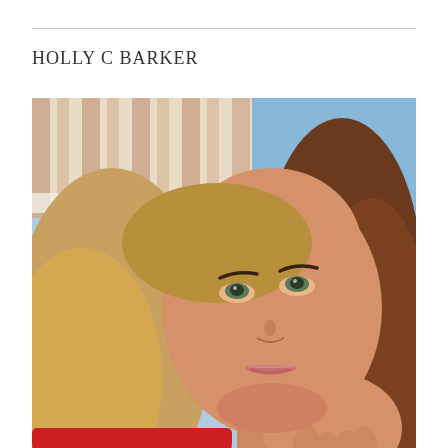HOLLY C BARKER
[Figure (photo): Portrait photo of Holly C Barker, a woman with long blonde/auburn hair resting her chin on her hand, smiling slightly, photographed indoors with a blue sky visible and striped wall/ceiling in the background. She is wearing a red top.]